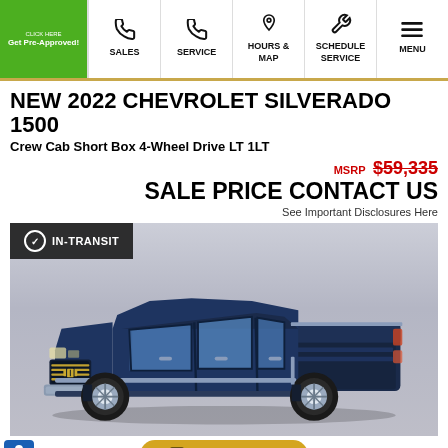Get Pre-Approved! | SALES | SERVICE | HOURS & MAP | SCHEDULE SERVICE | MENU
NEW 2022 CHEVROLET SILVERADO 1500
Crew Cab Short Box 4-Wheel Drive LT 1LT
MSRP $59,335
SALE PRICE CONTACT US
See Important Disclosures Here
[Figure (photo): Dark blue Chevrolet Silverado 1500 truck with IN-TRANSIT badge overlay, shown on gradient grey background]
Chat With Us